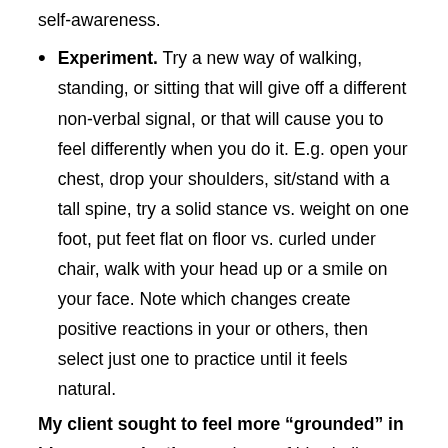self-awareness.
Experiment. Try a new way of walking, standing, or sitting that will give off a different non-verbal signal, or that will cause you to feel differently when you do it. E.g. open your chest, drop your shoulders, sit/stand with a tall spine, try a solid stance vs. weight on one foot, put feet flat on floor vs. curled under chair, walk with your head up or a smile on your face. Note which changes create positive reactions in your or others, then select just one to practice until it feels natural.
My client sought to feel more “grounded” in his communication, and part of his challenge was to drop his energy lower in his body. At one point we had him lying on the